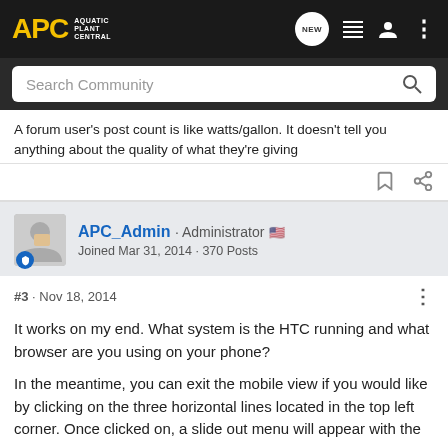[Figure (logo): APC Aquatic Plant Central logo with yellow APC text and white subtext on dark background]
A forum user's post count is like watts/gallon. It doesn't tell you anything about the quality of what they're giving
APC_Admin · Administrator 🇺🇸 Joined Mar 31, 2014 · 370 Posts
#3 · Nov 18, 2014
It works on my end. What system is the HTC running and what browser are you using on your phone?
In the meantime, you can exit the mobile view if you would like by clicking on the three horizontal lines located in the top left corner. Once clicked on, a slide out menu will appear with the